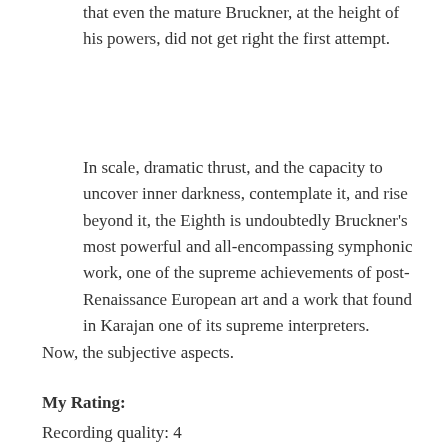that even the mature Bruckner, at the height of his powers, did not get right the first attempt.
In scale, dramatic thrust, and the capacity to uncover inner darkness, contemplate it, and rise beyond it, the Eighth is undoubtedly Bruckner’s most powerful and all-encompassing symphonic work, one of the supreme achievements of post-Renaissance European art and a work that found in Karajan one of its supreme interpreters.
Now, the subjective aspects.
My Rating:
Recording quality: 4